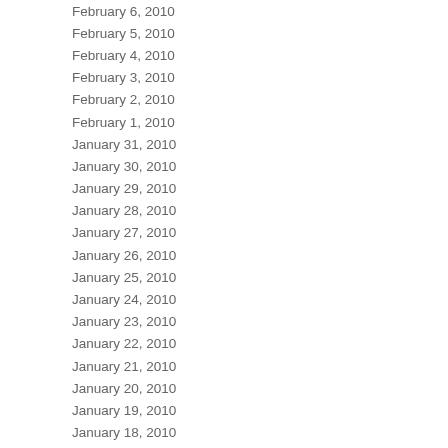| Date | Value |
| --- | --- |
| February 6, 2010 | 15 |
| February 5, 2010 | 12 |
| February 4, 2010 | 26 |
| February 3, 2010 | 11 |
| February 2, 2010 | 16 |
| February 1, 2010 | 16 |
| January 31, 2010 | 15 |
| January 30, 2010 | 12 |
| January 29, 2010 | 21 |
| January 28, 2010 | 16 |
| January 27, 2010 | 13 |
| January 26, 2010 | 13 |
| January 25, 2010 | 15 |
| January 24, 2010 | 12 |
| January 23, 2010 | 21 |
| January 22, 2010 | 10 |
| January 21, 2010 | 17 |
| January 20, 2010 | 12 |
| January 19, 2010 | 21 |
| January 18, 2010 | 18 |
| January 17, 2010 | 20 |
| January 16, 2010 | 11 |
| January 15, 2010 | 13 |
| January 14, 2010 | 15 |